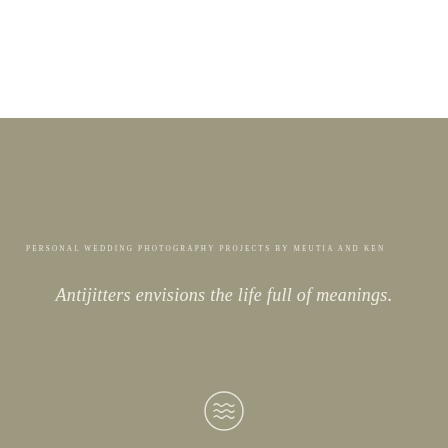PERSONAL WEDDING PHOTOGRAPHY PROJECTS BY MEUTIA AND KEN
Antijitters envisions the life full of meanings.
[Figure (illustration): A circular icon with three wavy horizontal lines inside, outlined in light cream color on the tan/khaki background]